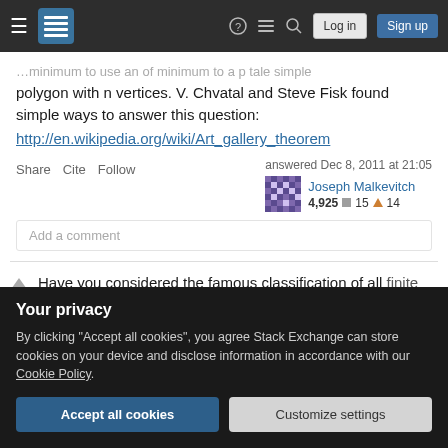Stack Exchange navigation header with Log in and Sign up buttons
...minimum to use an of minimum to a p tale simple polygon with n vertices. V. Chvatal and Steve Fisk found simple ways to answer this question:
http://en.wikipedia.org/wiki/Art_gallery_theorem
Share  Cite  Follow    answered Dec 8, 2011 at 21:05  Joseph Malkevitch  4,925  15  14
Add a comment
Have you considered the famous classification of all finite simple groups? See here for the history of this
Your privacy
By clicking "Accept all cookies", you agree Stack Exchange can store cookies on your device and disclose information in accordance with our Cookie Policy.
Accept all cookies
Customize settings